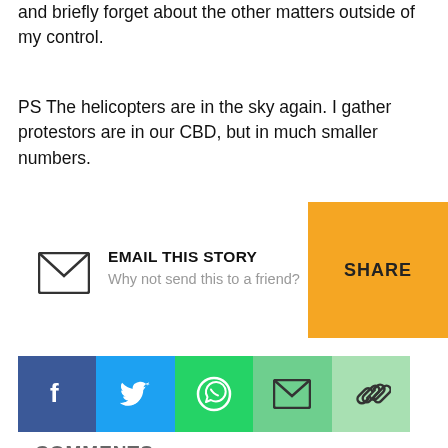and briefly forget about the other matters outside of my control.
PS The helicopters are in the sky again. I gather protestors are in our CBD, but in much smaller numbers.
[Figure (infographic): Email This Story share box with envelope icon, bold title 'EMAIL THIS STORY', subtitle 'Why not send this to a friend?', and an orange SHARE button on the right]
[Figure (infographic): Social sharing bar with five icons: Facebook (dark blue), Twitter (blue), WhatsApp (green), Email (medium green), Link (light green)]
COMMENTS